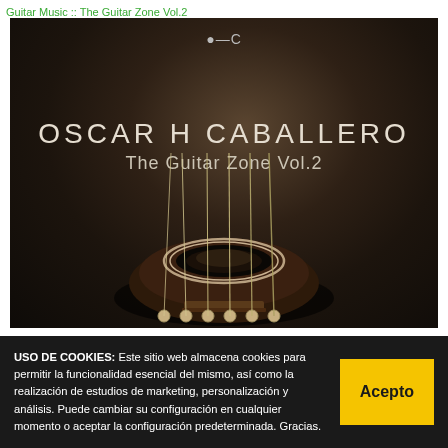Guitar Music :: The Guitar Zone Vol.2
[Figure (photo): Album cover for 'The Guitar Zone Vol.2' by Oscar H Caballero. Dark background showing a close-up of an acoustic guitar's soundhole and strings against a dark textured background. The artist name 'OSCAR H CABALLERO' appears in large light serif letters and 'The Guitar Zone Vol.2' appears below in slightly smaller text. A small logo symbol appears at the top center.]
USO DE COOKIES: Este sitio web almacena cookies para permitir la funcionalidad esencial del mismo, así como la realización de estudios de marketing, personalización y análisis. Puede cambiar su configuración en cualquier momento o aceptar la configuración predeterminada. Gracias.
Acepto